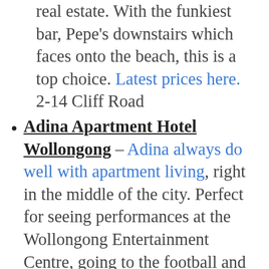real estate. With the funkiest bar, Pepe's downstairs which faces onto the beach, this is a top choice. Latest prices here. 2-14 Cliff Road
Adina Apartment Hotel Wollongong – Adina always do well with apartment living, right in the middle of the city. Perfect for seeing performances at the Wollongong Entertainment Centre, going to the football and right on the restaurant belt, it is a good choice. Latest prices here.19 Market Street, 2500 Wollongong, Australia
Beach Park Motel, Wollongong – A 200 metre stroll to the beach,